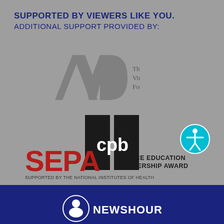SUPPORTED BY VIEWERS LIKE YOU.
ADDITIONAL SUPPORT PROVIDED BY:
[Figure (logo): AVD - The Arthur Vining Davis Foundations logo in gray]
[Figure (logo): CPB (Corporation for Public Broadcasting) logo - black squares with white text]
[Figure (logo): Accessibility icon - blue circle with white person figure]
[Figure (logo): SEPA Science Education Partnership Award - Supported by the National Institutes of Health]
[Figure (logo): PBS NewsHour logo at bottom on dark blue background]